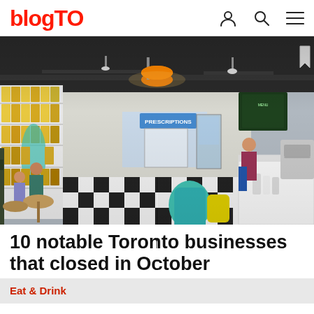blogTO
[Figure (photo): Interior of a pharmacy/deli cafe with black and white checkered floor, orange pendant lamp, shelves stocked with products, a PRESCRIPTIONS sign, and customers at tables and counter]
10 notable Toronto businesses that closed in October
Eat & Drink